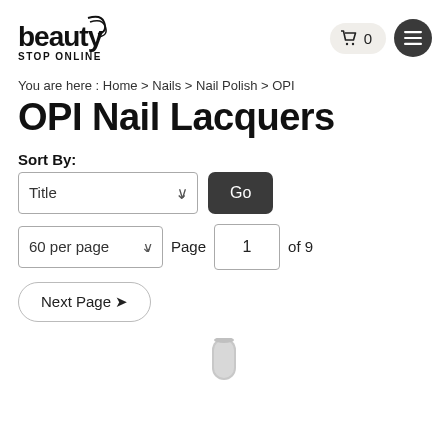beauty STOP ONLINE — cart 0 — menu
You are here : Home > Nails > Nail Polish > OPI
OPI Nail Lacquers
Sort By:
Title  Go
60 per page  Page 1 of 9
Next Page ❯
[Figure (photo): Bottom portion of a nail polish bottle, light grey/silver cap visible at bottom center of page]